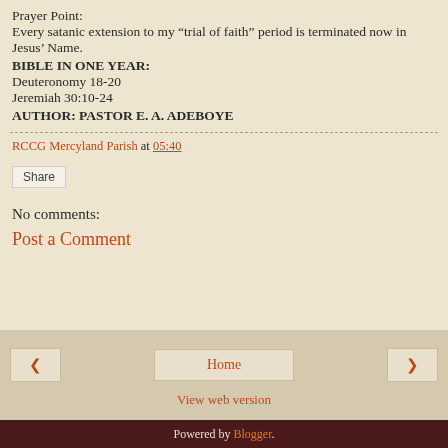Prayer Point:
Every satanic extension to my “trial of faith” period is terminated now in Jesus’ Name.
BIBLE IN ONE YEAR:
Deuteronomy 18-20
Jeremiah 30:10-24
AUTHOR: PASTOR E. A. ADEBOYE
RCCG Mercyland Parish at 05:40
Share
No comments:
Post a Comment
Home
View web version
Powered by Blogger.